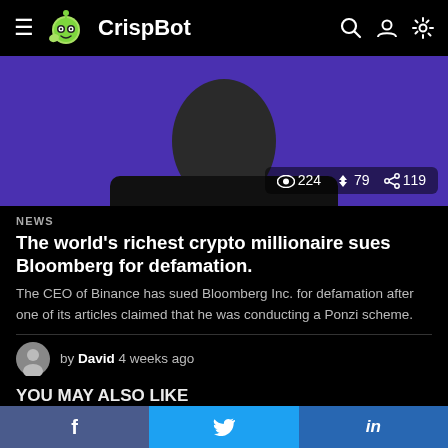CrispBot
[Figure (photo): Hero image of a person wearing a black t-shirt against a purple/dark background, with view/share stats overlay showing 224 views, 79 shares, 119 shares]
NEWS
The world's richest crypto millionaire sues Bloomberg for defamation.
The CEO of Binance has sued Bloomberg Inc. for defamation after one of its articles claimed that he was conducting a Ponzi scheme.
by David 4 weeks ago
YOU MAY ALSO LIKE